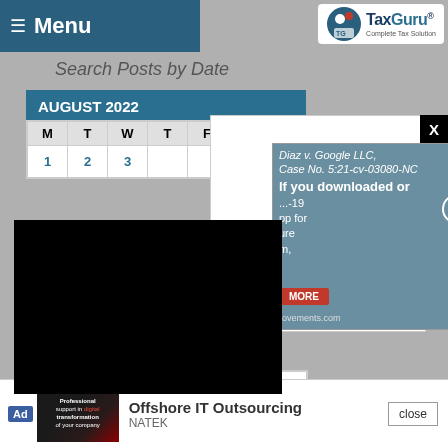Menu | TaxGuru® - Complete Tax Solution
Search Posts by Date
AUGUST 2022
| M | T | W | T | F | S | S |
| --- | --- | --- | --- | --- | --- | --- |
| 1 | 2 | 3 |  |  |  |  |
| 29 | 30 | 31 |  |  |  |  |
[Figure (screenshot): White modal popup with X close button in top-right black box, overlaid on calendar. Contains an advertisement for Diaz v. Google LLC, Case No. 5:21-cv-03080-NC with text about downloading COVID-19 app and icons illustration. A black video player overlay shows a loading spinner. Bottom advertisement bar shows Offshore IT Outsourcing by NATEK.]
Ad: Diaz v. Google LLC, Case No. 5:21-cv-03080-NC - If you downloaded or... COVID-19 ...app for ...ure ...m,
« Jul
Offshore IT Outsourcing
NATEK